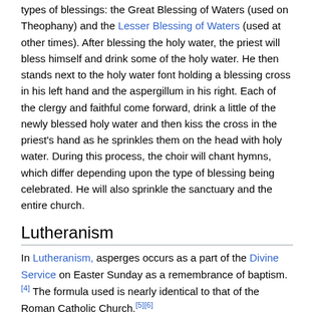types of blessings: the Great Blessing of Waters (used on Theophany) and the Lesser Blessing of Waters (used at other times). After blessing the holy water, the priest will bless himself and drink some of the holy water. He then stands next to the holy water font holding a blessing cross in his left hand and the aspergillum in his right. Each of the clergy and faithful come forward, drink a little of the newly blessed holy water and then kiss the cross in the priest's hand as he sprinkles them on the head with holy water. During this process, the choir will chant hymns, which differ depending upon the type of blessing being celebrated. He will also sprinkle the sanctuary and the entire church.
Lutheranism
In Lutheranism, asperges occurs as a part of the Divine Service on Easter Sunday as a remembrance of baptism.[4] The formula used is nearly identical to that of the Roman Catholic Church.[5][6]
Notes
1. ↑ Leclercq, Henri (1910), Holy Water Fonts &...
3. ↑ Kallistos (Ware), Bishop; Mary Mother (1969), The...